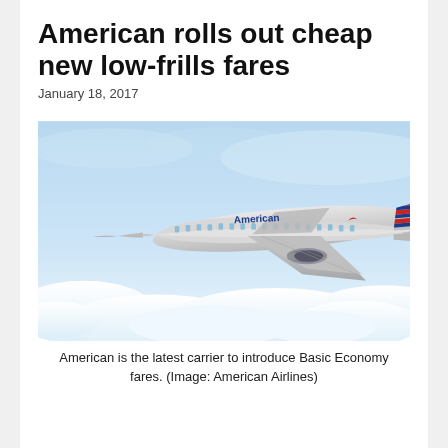American rolls out cheap new low-frills fares
January 18, 2017
[Figure (photo): An American Airlines Boeing 787 Dreamliner aircraft flying above clouds. The plane is silver/white with the American Airlines logo and livery including red and blue stripes on the tail.]
American is the latest carrier to introduce Basic Economy fares. (Image: American Airlines)